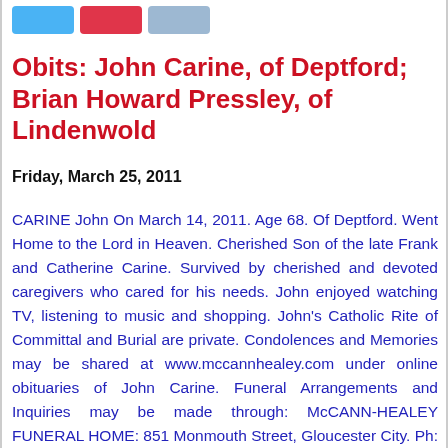[Figure (other): Social media sharing buttons: Twitter (blue), Pinterest (red), LinkedIn (blue-grey)]
Obits: John Carine, of Deptford; Brian Howard Pressley, of Lindenwold
Friday, March 25, 2011
CARINE John On March 14, 2011. Age 68. Of Deptford. Went Home to the Lord in Heaven. Cherished Son of the late Frank and Catherine Carine. Survived by cherished and devoted caregivers who cared for his needs. John enjoyed watching TV, listening to music and shopping. John's Catholic Rite of Committal and Burial are private. Condolences and Memories may be shared at www.mccannhealey.com under online obituaries of John Carine. Funeral Arrangements and Inquiries may be made through: McCANN-HEALEY FUNERAL HOME: 851 Monmouth Street, Gloucester City. Ph: 856-456-1142 PRESSLEY Brian Howard On March 19,